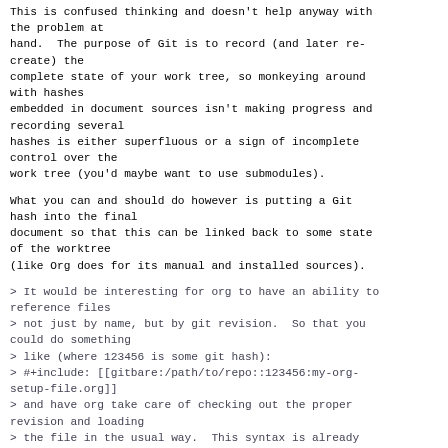This is confused thinking and doesn't help anyway with the problem at
hand.  The purpose of Git is to record (and later re-create) the
complete state of your work tree, so monkeying around with hashes
embedded in document sources isn't making progress and recording several
hashes is either superfluous or a sign of incomplete control over the
work tree (you'd maybe want to use submodules).
What you can and should do however is putting a Git hash into the final
document so that this can be linked back to some state of the worktree
(like Org does for its manual and installed sources).
> It would be interesting for org to have an ability to reference files
> not just by name, but by git revision.  So that you could do something
> like (where 123456 is some git hash):
> #+include: [[gitbare:/path/to/repo::123456:my-org-setup-file.org]]
> and have org take care of checking out the proper revision and loading
> the file in the usual way.  This syntax is already implemented, for